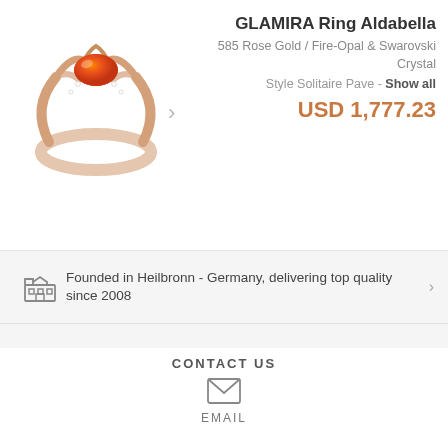[Figure (photo): Rose gold ring with orange fire-opal stone and Swarovski crystals, shown at angle]
GLAMIRA Ring Aldabella
585 Rose Gold / Fire-Opal & Swarovski Crystal
Style Solitaire Pave - Show all
USD 1,777.23
Founded in Heilbronn - Germany, delivering top quality since 2008
Direct from the source
Conflict free diamonds, gemstones and metals
CONTACT US
EMAIL